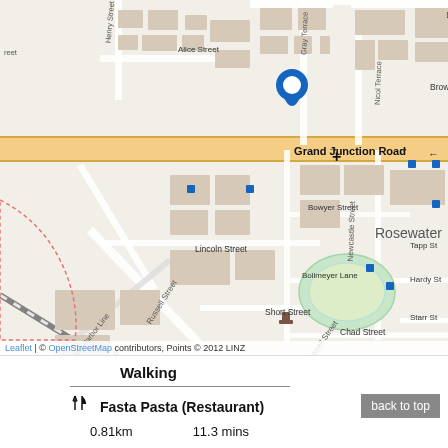[Figure (map): Street map centered on Grand Junction Road, Rosewater area. Shows streets including Elizabeth Street, Alice Street, Brown Street, Grand Junction Road, Clancy Street, Bowyer Street, Lincoln Street, Russell Street, Torrens Road, Canning Street, Short Street, Bollmeyer Lane, Hardy St, Starr St, Chad Street, Dundas Street, Miles Street, Coburg Road, Duke Street. A blue location pin is placed on Grand Junction Road near Brown Street. A cross (+) symbol nearby. A small oval green park/oval is visible. Railway/train line runs diagonally. Map attribution: Leaflet | © OpenStreetMap contributors, Points © 2012 LINZ]
Walking
Fasta Pasta (Restaurant)
0.81km   11.3 mins
back to top